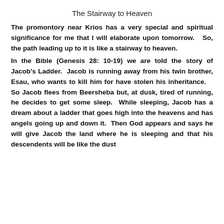The Stairway to Heaven
The promontory near Krios has a very special and spiritual significance for me that I will elaborate upon tomorrow.  So, the path leading up to it is like a stairway to heaven.
In the Bible (Genesis 28: 10-19) we are told the story of Jacob’s Ladder.  Jacob is running away from his twin brother, Esau, who wants to kill him for have stolen his inheritance.   So Jacob flees from Beersheba but, at dusk, tired of running, he decides to get some sleep.  While sleeping, Jacob has a dream about a ladder that goes high into the heavens and has angels going up and down it.  Then God appears and says he will give Jacob the land where he is sleeping and that his descendents will be like the dust